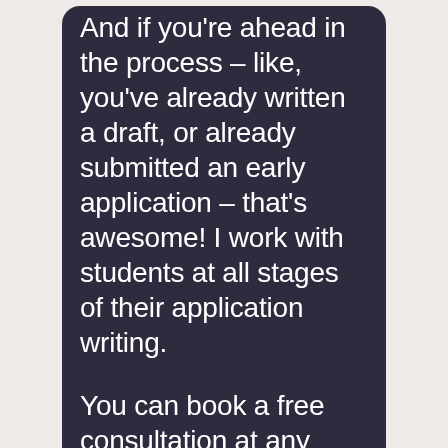And if you're ahead in the process – like, you've already written a draft, or already submitted an early application – that's awesome! I work with students at all stages of their application writing.
You can book a free consultation at any time of the year. I'm always glad to answer questions, help you plan a schedule, and share advice.